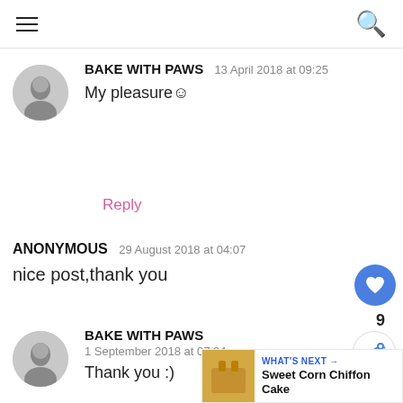Navigation bar with hamburger menu and search icon
BAKE WITH PAWS  13 April 2018 at 09:25
My pleasure☺
Reply
ANONYMOUS  29 August 2018 at 04:07
nice post,thank you
BAKE WITH PAWS  1 September 2018 at 07:34
Thank you :)
WHAT'S NEXT → Sweet Corn Chiffon Cake